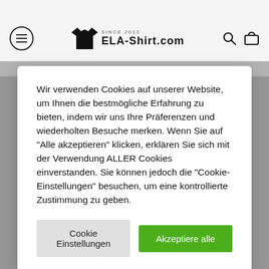ELA-Shirt.com — SINCE 2013 — navigation header with menu, logo, search, and cart icons
[Figure (screenshot): Website screenshot of ELA-Shirt.com with a cookie consent modal overlay. Background shows a product photo of a person wearing a white t-shirt, and a NEU (new) badge.]
Wir verwenden Cookies auf unserer Website, um Ihnen die bestmögliche Erfahrung zu bieten, indem wir uns Ihre Präferenzen und wiederholten Besuche merken. Wenn Sie auf "Alle akzeptieren" klicken, erklären Sie sich mit der Verwendung ALLER Cookies einverstanden. Sie können jedoch die "Cookie-Einstellungen" besuchen, um eine kontrollierte Zustimmung zu geben.
Cookie Einstellungen
Akzeptiere alle